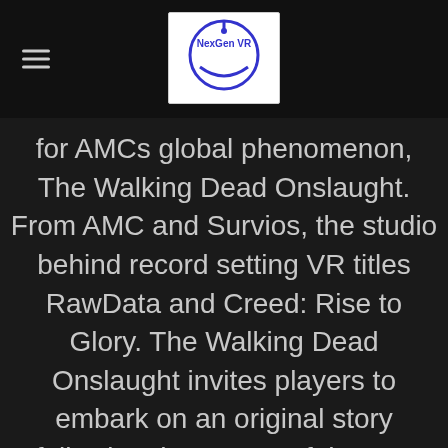NexGen VR logo with hamburger menu
for AMCs global phenomenon, The Walking Dead Onslaught. From AMC and Survios, the studio behind record setting VR titles RawData and Creed: Rise to Glory. The Walking Dead Onslaught invites players to embark on an original story following the events of the war with the Saviors. Players will fight as Rick, Daryl, Michonne, and Carol to gather needed resources to rebuild the settlement, restore society, and prepare for an onslaught of walker-slaying mayhem